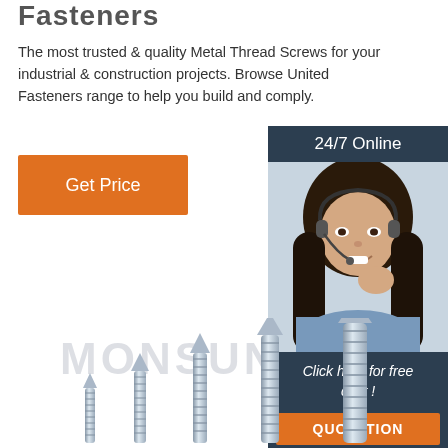Fasteners
The most trusted & quality Metal Thread Screws for your industrial & construction projects. Browse United Fasteners range to help you build and comply.
[Figure (other): Orange 'Get Price' button]
[Figure (photo): Customer service sidebar with '24/7 Online' header, photo of smiling woman with headset, 'Click here for free chat!' text, and orange 'QUOTATION' button]
[Figure (photo): MONSUN watermark text overlay with a row of metal thread screws of increasing size arranged on white background]